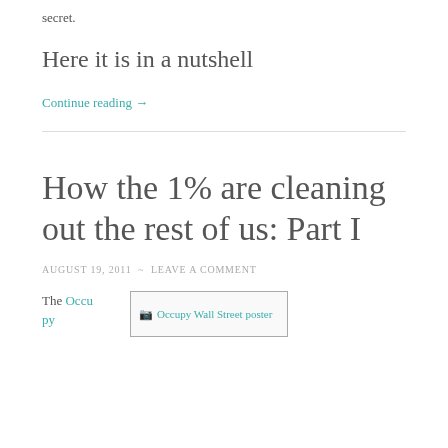secret.
Here it is in a nutshell
Continue reading →
How the 1% are cleaning out the rest of us: Part I
AUGUST 19, 2011  ~  LEAVE A COMMENT
The Occu py
[Figure (photo): Occupy Wall Street poster image placeholder]